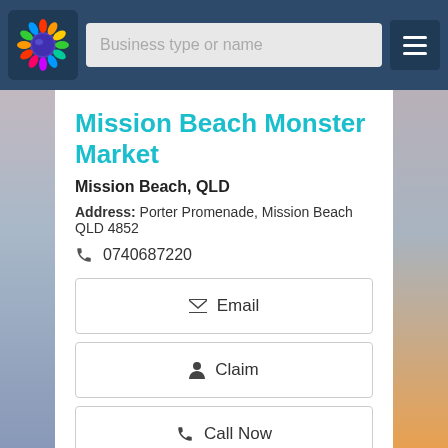[Figure (screenshot): Website navigation bar with logo (colorful sunflower on dark blue background), search field placeholder 'Business type or name', and hamburger menu button]
Mission Beach Monster Market
Mission Beach, QLD
Address: Porter Promenade, Mission Beach QLD 4852
0740687220
Email
Claim
Call Now
View Details
[Figure (photo): Partial sky/cloud photograph at bottom of page]